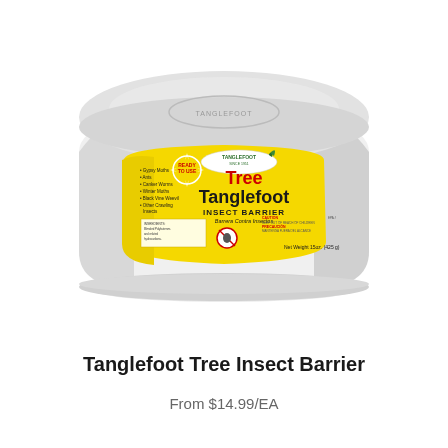[Figure (photo): A white plastic tub/container of Tanglefoot Tree Tanglefoot Insect Barrier with a yellow label. The label shows the brand name 'TANGLEFOOT' at the top, 'Tree Tanglefoot' in large red and dark text, 'INSECT BARRIER' and 'Barrera Contra Insectos' below, a 'Ready to Use' starburst badge, a list of insects on the left side of the label, a crossed-out insect icon, and 'Net Weight 15oz (425g)' at the bottom right. The lid is white with an embossed oval logo.]
Tanglefoot Tree Insect Barrier
From $14.99/EA